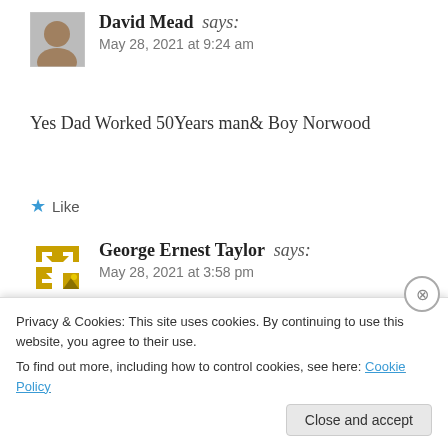[Figure (photo): Avatar photo of David Mead, an older man]
David Mead says:
May 28, 2021 at 9:24 am
Yes Dad Worked 50Years man& Boy Norwood
★ Like
[Figure (illustration): Avatar icon placeholder for George Ernest Taylor with golden/yellow icons]
George Ernest Taylor says:
May 28, 2021 at 3:58 pm
Robert Greig had two shops after the
Privacy & Cookies: This site uses cookies. By continuing to use this website, you agree to their use.
To find out more, including how to control cookies, see here: Cookie Policy
Close and accept